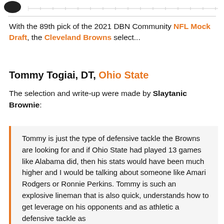[Figure (logo): Partial dark circular logo at top left]
With the 89th pick of the 2021 DBN Community NFL Mock Draft, the Cleveland Browns select...
Tommy Togiai, DT, Ohio State
The selection and write-up were made by Slaytanic Brownie:
Tommy is just the type of defensive tackle the Browns are looking for and if Ohio State had played 13 games like Alabama did, then his stats would have been much higher and I would be talking about someone like Amari Rodgers or Ronnie Perkins. Tommy is such an explosive lineman that is also quick, understands how to get leverage on his opponents and as athletic a defensive tackle as